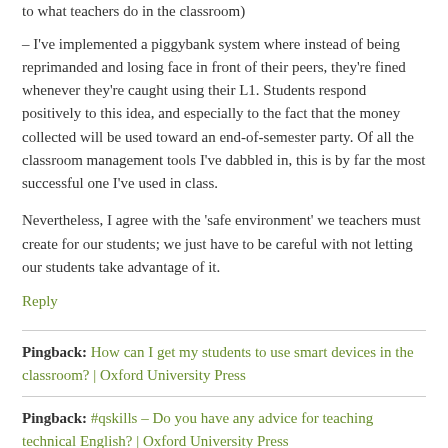to what teachers do in the classroom)
– I've implemented a piggybank system where instead of being reprimanded and losing face in front of their peers, they're fined whenever they're caught using their L1. Students respond positively to this idea, and especially to the fact that the money collected will be used toward an end-of-semester party. Of all the classroom management tools I've dabbled in, this is by far the most successful one I've used in class.
Nevertheless, I agree with the 'safe environment' we teachers must create for our students; we just have to be careful with not letting our students take advantage of it.
Reply
Pingback: How can I get my students to use smart devices in the classroom? | Oxford University Press
Pingback: #qskills – Do you have any advice for teaching technical English? | Oxford University Press